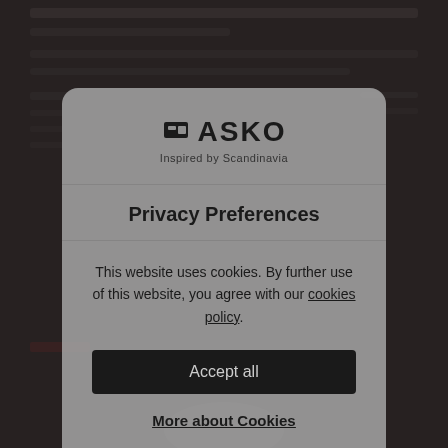[Figure (screenshot): Blurred dark website background behind a cookie consent modal]
ASKO – Inspired by Scandinavia
Privacy Preferences
This website uses cookies. By further use of this website, you agree with our cookies policy.
Accept all
More about Cookies
Show cookie settings